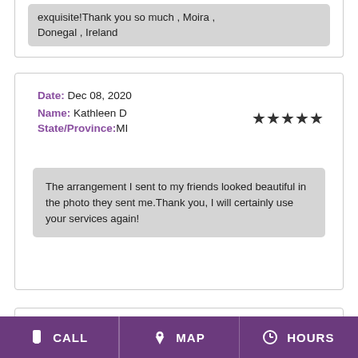exquisite!Thank you so much , Moira , Donegal , Ireland
Date: Dec 08, 2020
Name: Kathleen D
State/Province:MI
★★★★★
The arrangement I sent to my friends looked beautiful in the photo they sent me.Thank you, I will certainly use your services again!
Date: Dec 07, 2020
Name: Susan T
State/Province:NY
★★★★★
CALL | MAP | HOURS